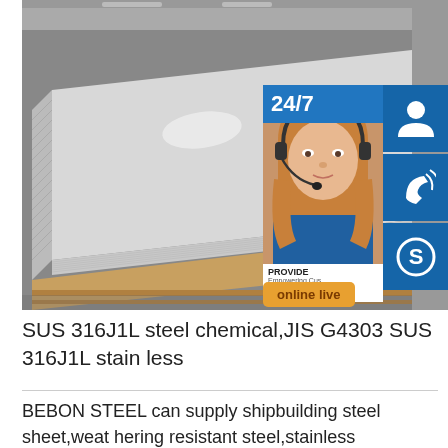[Figure (photo): Stainless steel sheets stacked on wooden pallets in a warehouse, overlaid with a customer service UI panel showing 24/7 support icons (headset, phone, Skype) and an 'online live' button, with a photo of a female customer service representative wearing a headset.]
SUS 316J1L steel chemical,JIS G4303 SUS 316J1L stain less
BEBON STEEL can supply shipbuilding steel sheet,weathering resistant steel,stainless steel,steel pipe,special ma